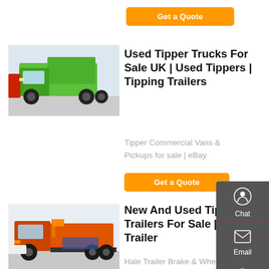Get a Quote
[Figure (photo): Green tipper truck parked indoors at a vehicle showroom]
Used Tipper Trucks For Sale UK | Used Tippers | Tipping Trailers
Tipper Commercial Vans & Pickups for sale | eBay
Get a Quote
[Figure (photo): Orange heavy truck tractor unit parked outdoors]
New And Used Tipper Trailers For Sale | Hale Trailer
Hale Trailer Brake & Wheel Inc.